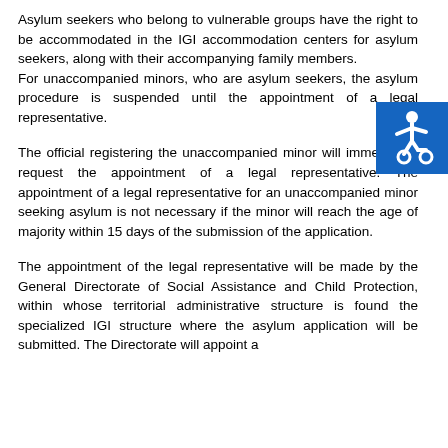Asylum seekers who belong to vulnerable groups have the right to be accommodated in the IGI accommodation centers for asylum seekers, along with their accompanying family members.
For unaccompanied minors, who are asylum seekers, the asylum procedure is suspended until the appointment of a legal representative.
[Figure (illustration): Accessibility icon: white wheelchair symbol on blue square background]
The official registering the unaccompanied minor will immediately request the appointment of a legal representative. The appointment of a legal representative for an unaccompanied minor seeking asylum is not necessary if the minor will reach the age of majority within 15 days of the submission of the application.
The appointment of the legal representative will be made by the General Directorate of Social Assistance and Child Protection, within whose territorial administrative structure is found the specialized IGI structure where the asylum application will be submitted. The Directorate will appoint a